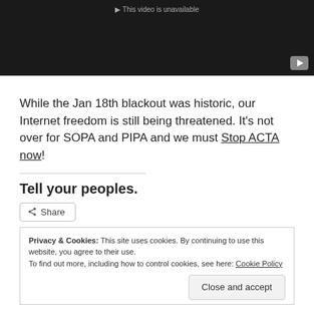[Figure (screenshot): YouTube video player showing 'This video is unavailable' message with a dark background and YouTube play button icon in bottom right corner.]
While the Jan 18th blackout was historic, our Internet freedom is still being threatened. It’s not over for SOPA and PIPA and we must Stop ACTA now!
Tell your peoples.
Share
Privacy & Cookies: This site uses cookies. By continuing to use this website, you agree to their use. To find out more, including how to control cookies, see here: Cookie Policy
Close and accept